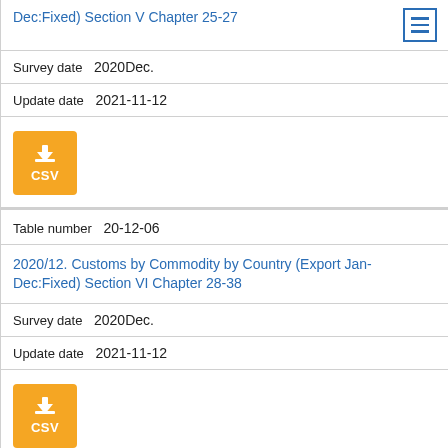Dec:Fixed) Section V Chapter 25-27
Survey date  2020Dec.
Update date  2021-11-12
[Figure (other): CSV download button (orange)]
Table number  20-12-06
2020/12. Customs by Commodity by Country (Export Jan-Dec:Fixed) Section VI Chapter 28-38
Survey date  2020Dec.
Update date  2021-11-12
[Figure (other): CSV download button (orange)]
Table number  20-12-07